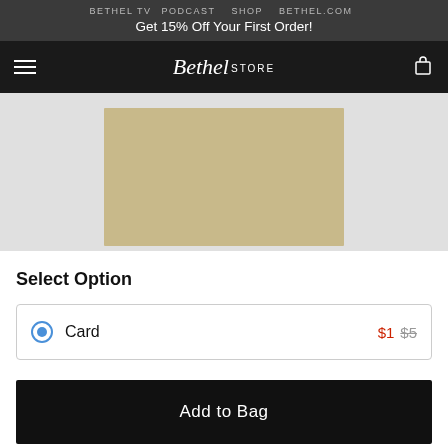BETHEL TV  PODCAST  SHOP  BETHEL.COM
Get 15% Off Your First Order!
[Figure (screenshot): Bethel Store navigation bar with hamburger menu, Bethel Store logo in cursive, and cart icon]
[Figure (photo): Product image area showing a tan/beige card on light grey background]
Select Option
Card  $1  $5
Add to Bag